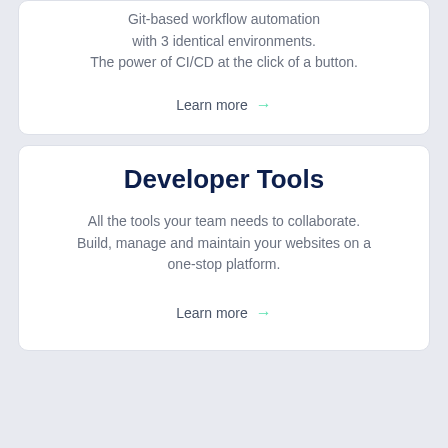Git-based workflow automation with 3 identical environments. The power of CI/CD at the click of a button.
Learn more →
Developer Tools
All the tools your team needs to collaborate. Build, manage and maintain your websites on a one-stop platform.
Learn more →